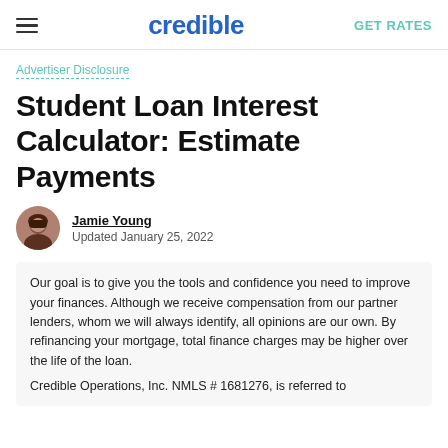credible | GET RATES
Advertiser Disclosure
Student Loan Interest Calculator: Estimate Payments
Jamie Young
Updated January 25, 2022
Our goal is to give you the tools and confidence you need to improve your finances. Although we receive compensation from our partner lenders, whom we will always identify, all opinions are our own. By refinancing your mortgage, total finance charges may be higher over the life of the loan.
Credible Operations, Inc. NMLS # 1681276, is referred to